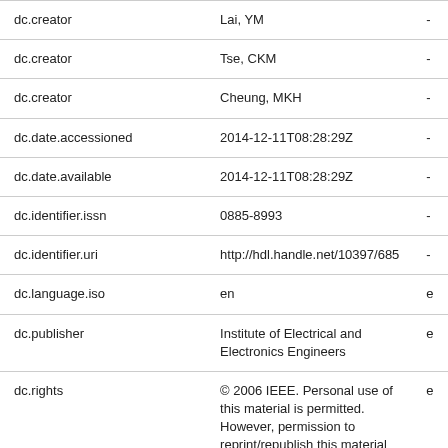| dc.creator | Lai, YM | - |
| dc.creator | Tse, CKM | - |
| dc.creator | Cheung, MKH | - |
| dc.date.accessioned | 2014-12-11T08:28:29Z | - |
| dc.date.available | 2014-12-11T08:28:29Z | - |
| dc.identifier.issn | 0885-8993 | - |
| dc.identifier.uri | http://hdl.handle.net/10397/685 | - |
| dc.language.iso | en | e |
| dc.publisher | Institute of Electrical and Electronics Engineers | e |
| dc.rights | © 2006 IEEE. Personal use of this material is permitted. However, permission to reprint/republish this material for advertising or promotional... | e |